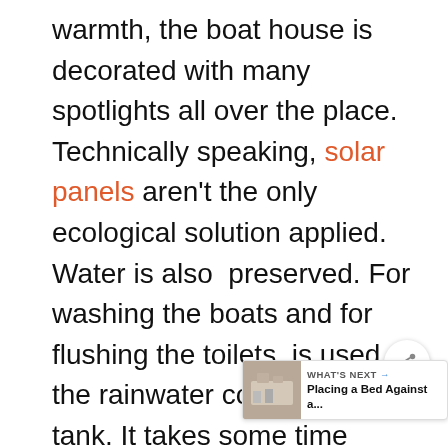warmth, the boat house is decorated with many spotlights all over the place. Technically speaking, solar panels aren't the only ecological solution applied. Water is also preserved. For washing the boats and for flushing the toilets, is used the rainwater collected in a tank. It takes some time getting used to an industrial building like this, but it's totally different appearance helps people learning more about this modern trend in architecture.{found on archdaily and pics by Sebastiaan S...